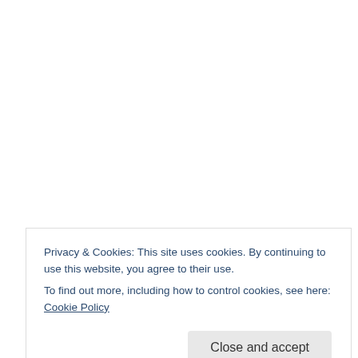Share this:
Twitter  Facebook
★ Like
Be the first to like this.
Privacy & Cookies: This site uses cookies. By continuing to use this website, you agree to their use.
To find out more, including how to control cookies, see here: Cookie Policy
Close and accept